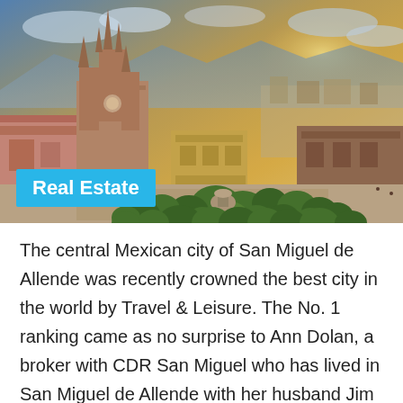[Figure (photo): Aerial view of San Miguel de Allende, Mexico, showing a Gothic-style cathedral (Parroquia de San Miguel Arcángel) with a large public square featuring elaborately trimmed round topiary bushes, colorful colonial buildings, and a golden sunset sky in the background.]
Real Estate
The central Mexican city of San Miguel de Allende was recently crowned the best city in the world by Travel & Leisure. The No. 1 ranking came as no surprise to Ann Dolan, a broker with CDR San Miguel who has lived in San Miguel de Allende with her husband Jim for 25 years.  The city, 170 miles northwest